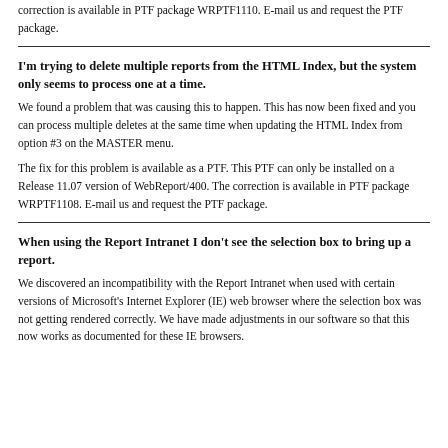correction is available in PTF package WRPTF1110. E-mail us and request the PTF package.
I'm trying to delete multiple reports from the HTML Index, but the system only seems to process one at a time.
We found a problem that was causing this to happen. This has now been fixed and you can process multiple deletes at the same time when updating the HTML Index from option #3 on the MASTER menu.
The fix for this problem is available as a PTF. This PTF can only be installed on a Release 11.07 version of WebReport/400. The correction is available in PTF package WRPTF1108. E-mail us and request the PTF package.
When using the Report Intranet I don't see the selection box to bring up a report.
We discovered an incompatibility with the Report Intranet when used with certain versions of Microsoft's Internet Explorer (IE) web browser where the selection box was not getting rendered correctly. We have made adjustments in our software so that this now works as documented for these IE browsers.